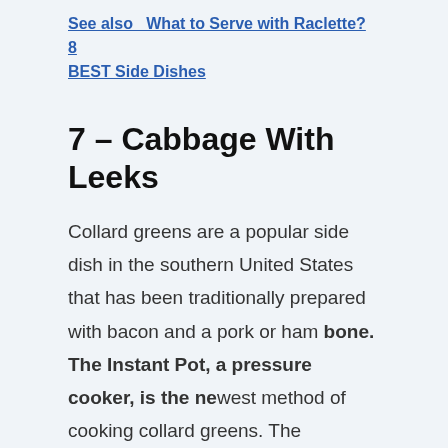See also  What to Serve with Raclette? 8 BEST Side Dishes
7 – Cabbage With Leeks
Collard greens are a popular side dish in the southern United States that has been traditionally prepared with bacon and a pork or ham bone. The Instant Pot, a pressure cooker, is the newest method of cooking collard greens. The following